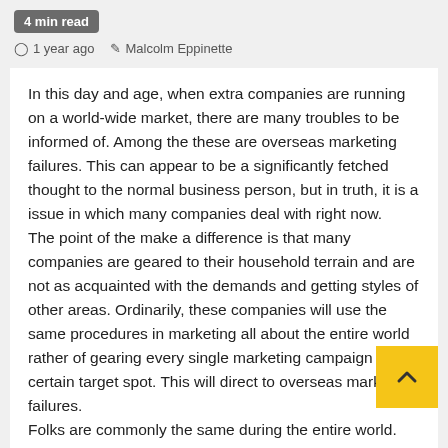4 min read
1 year ago   Malcolm Eppinette
In this day and age, when extra companies are running on a world-wide market, there are many troubles to be informed of. Among the these are overseas marketing failures. This can appear to be a significantly fetched thought to the normal business person, but in truth, it is a issue in which many companies deal with right now.
The point of the make a difference is that many companies are geared to their household terrain and are not as acquainted with the demands and getting styles of other areas. Ordinarily, these companies will use the same procedures in marketing all about the entire world rather of gearing every single marketing campaign to the certain target spot. This will direct to overseas marketing failures.
Folks are commonly the same during the entire world.